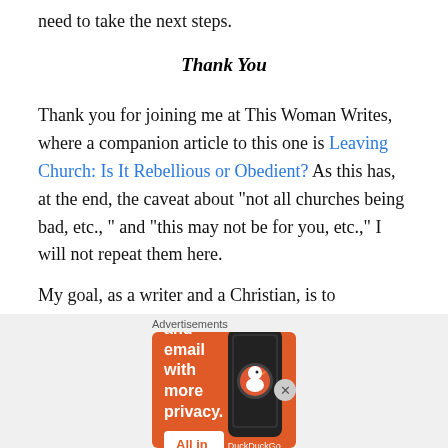need to take the next steps.
Thank You
Thank you for joining me at This Woman Writes, where a companion article to this one is Leaving Church: Is It Rebellious or Obedient? As this has, at the end, the caveat about “not all churches being bad, etc., ” and “this may not be for you, etc.,” I will not repeat them here.
My goal, as a writer and a Christian, is to encourage the seekers and believers who are tired of twisting and contorting themselves to fit into the very small space they
[Figure (infographic): DuckDuckGo advertisement banner on orange background. Text: 'Search, browse, and email with more privacy. All in One Free App' with DuckDuckGo logo and phone image.]